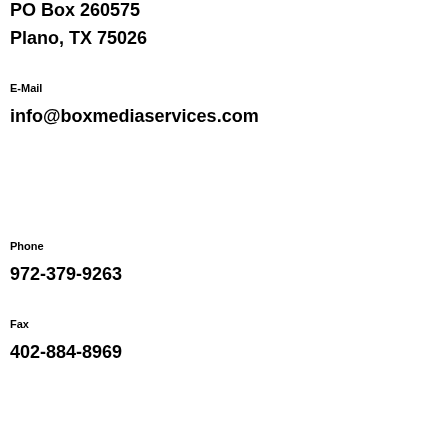PO Box 260575
Plano, TX 75026
E-Mail
info@boxmediaservices.com
Phone
972-379-9263
Fax
402-884-8969